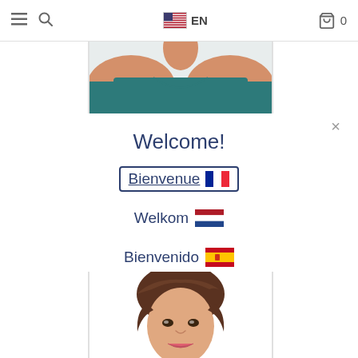≡  🔍  🇺🇸 EN  🛒 0
[Figure (photo): Cropped photo of a person wearing a teal sleeveless top, showing neck and shoulders area]
×
Welcome!
Bienvenue 🇫🇷
Welkom 🇳🇱
Bienvenido 🇪🇸
[Figure (photo): Photo of a woman with short brunette hair styled in a pixie cut, smiling, wearing makeup]